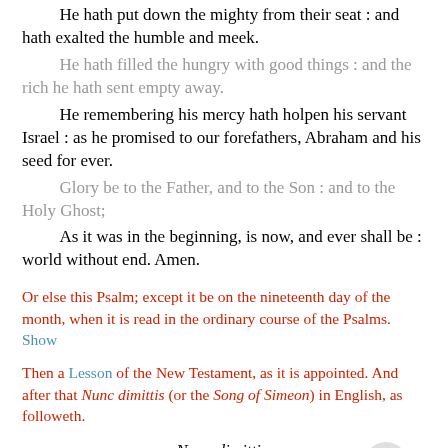He hath put down the mighty from their seat : and hath exalted the humble and meek.
He hath filled the hungry with good things : and the rich he hath sent empty away.
He remembering his mercy hath holpen his servant Israel : as he promised to our forefathers, Abraham and his seed for ever.
Glory be to the Father, and to the Son : and to the Holy Ghost;
As it was in the beginning, is now, and ever shall be : world without end. Amen.
Or else this Psalm; except it be on the nineteenth day of the month, when it is read in the ordinary course of the Psalms. Show
Then a Lesson of the New Testament, as it is appointed. And after that Nunc dimittis (or the Song of Simeon) in English, as followeth.
Nunc dimittis.
St Luke ii. 29.
LORD, now lettest thou thy servant depart in peace :